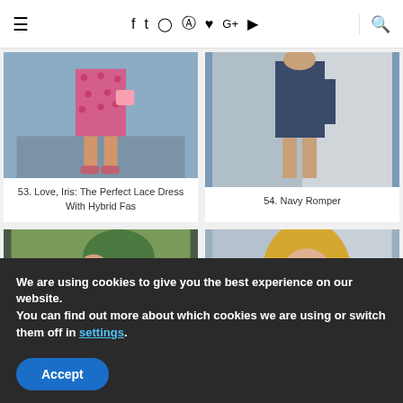≡  f  t  ○  ⊕  ♥  G+  ▶  🔍
[Figure (photo): Woman wearing a pink patterned dress, seen from below the waist, standing on pavement]
53. Love, Iris: The Perfect Lace Dress With Hybrid Fas
[Figure (photo): Woman in a navy romper, seen from below the waist, standing near a light wall]
54. Navy Romper
[Figure (photo): Woman wearing a black and white polka dot dress and a wide brim hat, standing near trees outdoors]
[Figure (photo): Woman with blonde hair wearing sunglasses and a blue top with a scarf]
We are using cookies to give you the best experience on our website.
You can find out more about which cookies we are using or switch them off in settings.